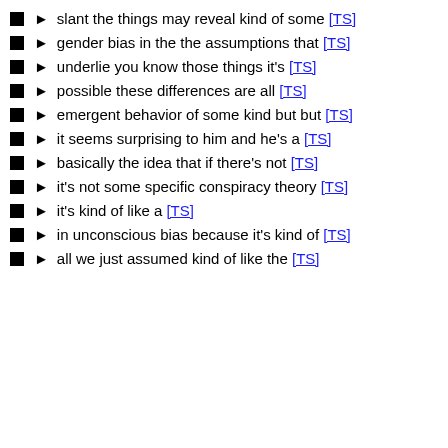slant the things may reveal kind of some [TS]
gender bias in the the assumptions that [TS]
underlie you know those things it's [TS]
possible these differences are all [TS]
emergent behavior of some kind but but [TS]
it seems surprising to him and he's a [TS]
basically the idea that if there's not [TS]
it's not some specific conspiracy theory [TS]
it's kind of like a [TS]
in unconscious bias because it's kind of [TS]
all we just assumed kind of like the [TS]